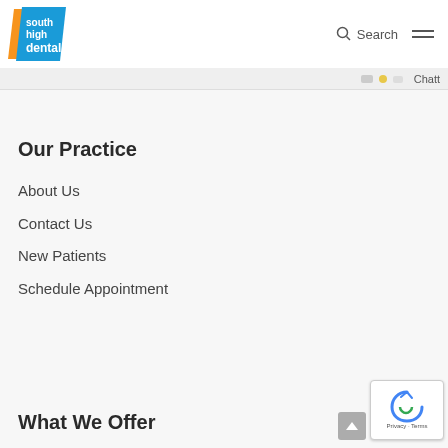south high dental | Search | Menu
Chatt
Our Practice
About Us
Contact Us
New Patients
Schedule Appointment
What We Offer
[Figure (logo): South High Dental logo with blue parallelogram and orange accent stripe, white text reading south high dental]